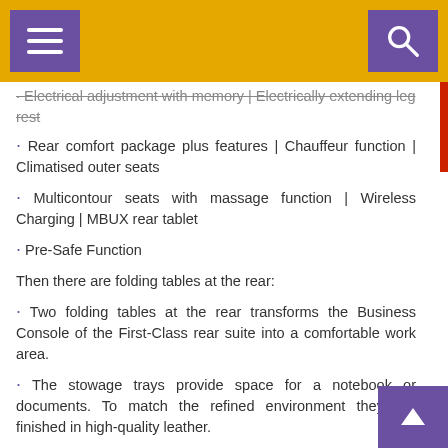Electrical adjustment with memory | Electrically extending leg rest
Rear comfort package plus features | Chauffeur function | Climatised outer seats
Multicontour seats with massage function | Wireless Charging | MBUX rear tablet
Pre-Safe Function
Then there are folding tables at the rear:
Two folding tables at the rear transforms the Business Console of the First-Class rear suite into a comfortable work area.
The stowage trays provide space for a notebook or documents. To match the refined environment they are finished in high-quality leather.
The SUV has a refrigerated compartment which is incorporated harmoniously into the rear armrest. There option for Interior lighting, mounting option for two